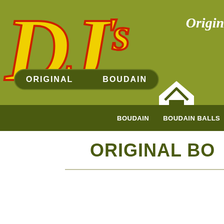[Figure (logo): DJ's Original Boudain logo — large yellow italic DJ's text with red outline, green rounded banner reading ORIGINAL BOUDAIN, on olive green background]
Origin
BOUDAIN   BOUDAIN BALLS   R...
ORIGINAL BO